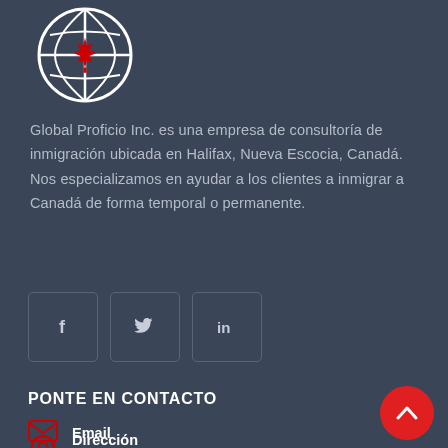[Figure (logo): Globe icon with Canadian red maple leaf in center, white icon on dark blue-grey background]
Global Proficio Inc. es una empresa de consultoría de inmigración ubicada en Halifax, Nueva Escocia, Canadá. Nos especializamos en ayudar a los clientes a inmigrar a Canadá de forma temporal o permanente.
[Figure (other): Social media icons: Facebook (f), Twitter (bird/y), LinkedIn (in), each in a rounded square border]
PONTE EN CONTACTO
Dirección
5883 Almon Street, Halifax NS, B3K 1T7, Canadá
Email